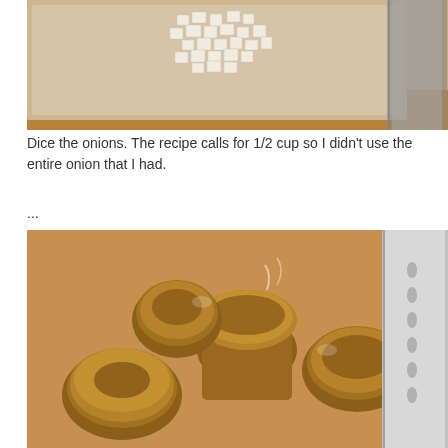[Figure (photo): Diced onions on a clear plastic cutting board on a wooden surface, with a knife visible at the top right]
Dice the onions. The recipe calls for 1/2 cup so I didn't use the entire onion that I had.
...
[Figure (photo): Caramelized or cooked onion pieces with golden-brown color on a cutting board with a knife blade visible on the right side]